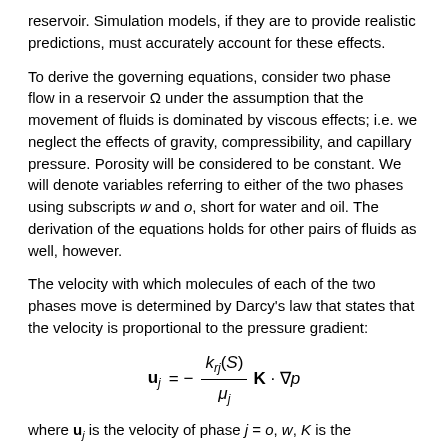reservoir. Simulation models, if they are to provide realistic predictions, must accurately account for these effects.
To derive the governing equations, consider two phase flow in a reservoir Ω under the assumption that the movement of fluids is dominated by viscous effects; i.e. we neglect the effects of gravity, compressibility, and capillary pressure. Porosity will be considered to be constant. We will denote variables referring to either of the two phases using subscripts w and o, short for water and oil. The derivation of the equations holds for other pairs of fluids as well, however.
The velocity with which molecules of each of the two phases move is determined by Darcy's law that states that the velocity is proportional to the pressure gradient:
where u_j is the velocity of phase j = o, w, K is the permeability tensor, k_{rj} is the relative permeability of phase j, p is the pressure and μ_i is the viscosity of phase j. Finally, S is the saturation